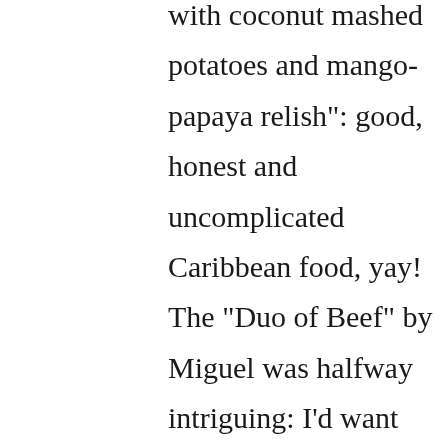with coconut mashed potatoes and mango-papaya relish": good, honest and uncomplicated Caribbean food, yay! The "Duo of Beef" by Miguel was halfway intriguing: I'd want the short ribs but I'd skip the filet mignon, which is to my mind a very boring and overrated cut of beef.

Finally, the winner, the "steamed Thai red snapper with brussel sprout